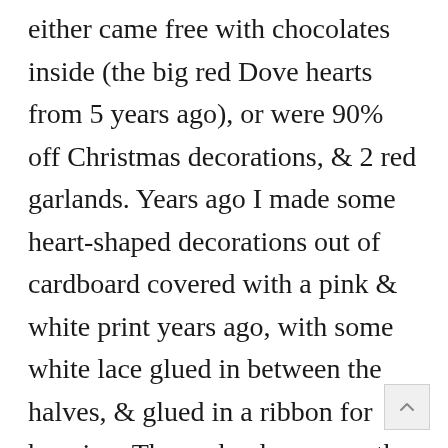either came free with chocolates inside (the big red Dove hearts from 5 years ago), or were 90% off Christmas decorations, & 2 red garlands. Years ago I made some heart-shaped decorations out of cardboard covered with a pink & white print years ago, with some white lace glued in between the halves, & glued in a ribbon for hanging. The garlands go over the bookcases (3) & the hearts hang from paperclip hooks at the two outside corners.